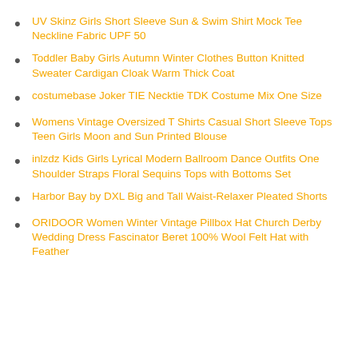UV Skinz Girls Short Sleeve Sun & Swim Shirt Mock Tee Neckline Fabric UPF 50
Toddler Baby Girls Autumn Winter Clothes Button Knitted Sweater Cardigan Cloak Warm Thick Coat
costumebase Joker TIE Necktie TDK Costume Mix One Size
Womens Vintage Oversized T Shirts Casual Short Sleeve Tops Teen Girls Moon and Sun Printed Blouse
inlzdz Kids Girls Lyrical Modern Ballroom Dance Outfits One Shoulder Straps Floral Sequins Tops with Bottoms Set
Harbor Bay by DXL Big and Tall Waist-Relaxer Pleated Shorts
ORIDOOR Women Winter Vintage Pillbox Hat Church Derby Wedding Dress Fascinator Beret 100% Wool Felt Hat with Feather